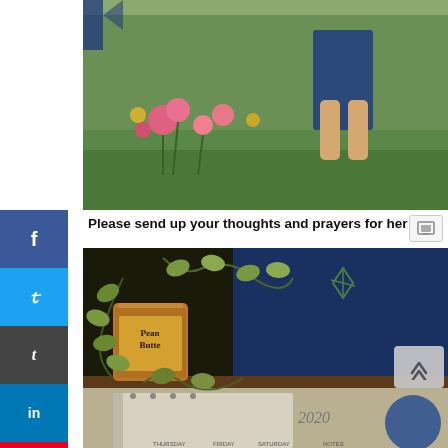[Figure (photo): Outdoor photo showing a person's legs in a blue dress/skirt standing near pink flowers and green grass]
Please send up your thoughts and prayers for her
[Figure (photo): Indoor photo showing a peanut butter tin can with vine plants growing out of it, on a shelf next to a blue book, with a 2020 calendar visible at the bottom]
f (Facebook share button)
y (Twitter share button)
t (Tumblr share button)
in (LinkedIn share button)
p (Pinterest share button)
≡ (More options button)
< (Share button)